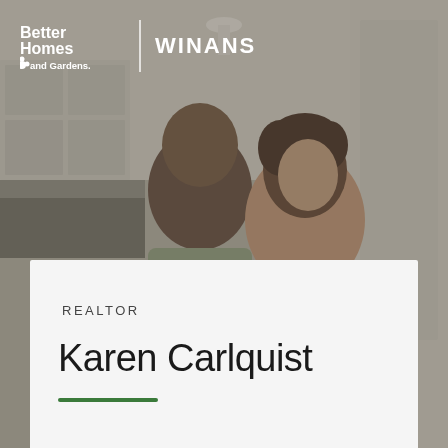[Figure (photo): Background photo of a smiling couple in a kitchen, man and woman, slightly darkened overlay. Used as background for a real estate agent profile card.]
[Figure (logo): Better Homes and Gardens Real Estate logo (white) on left, vertical divider, then WINANS text logo in white on right.]
[Figure (infographic): Social media icons: Facebook, Twitter, Instagram, LinkedIn — all in white, centered on image.]
REALTOR
Karen Carlquist